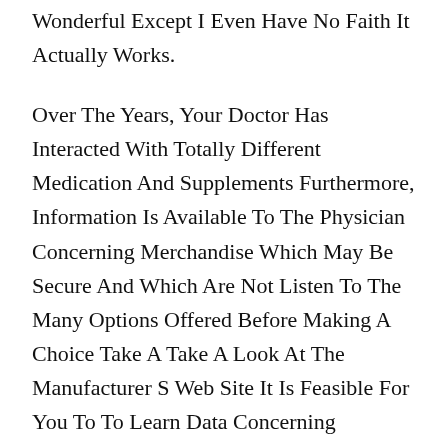Wonderful Except I Even Have No Faith It Actually Works.
Over The Years, Your Doctor Has Interacted With Totally Different Medication And Supplements Furthermore, Information Is Available To The Physician Concerning Merchandise Which May Be Secure And Which Are Not Listen To The Many Options Offered Before Making A Choice Take A Take A Look At The Manufacturer S Web Site It Is Feasible For You To To Learn Data Concerning Ingredients You Can Use The Same Internet To Find Out About The Advantages And Side Unexplained Weight Loss Effects Of Every Ingredient.
Caralluma Pro Will Be A Promising Addition To Weight Management Caralluma Fimbriata Can Be Identified To Dam Fat, Which Naturally Burns Fats Keto Portion Plate Stores Within The Physique The Plant Can Be Mentioned